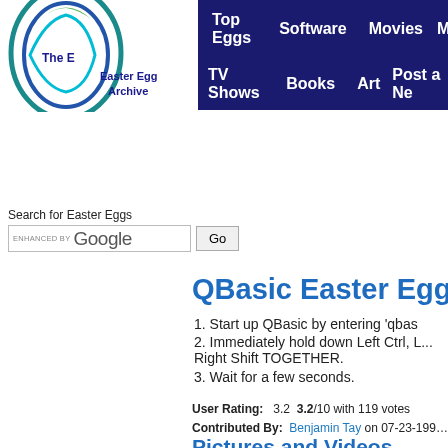The Easter Egg Archive — Top Eggs | Software | Movies | Mu... | TV Shows | Books | Art | Post a Ne...
[Figure (logo): The Easter Egg Archive logo — egg shape with blue/green swirl and text 'The Easter Egg Archive']
Search for Easter Eggs
enhanced by Google [search box] Go
QBasic Easter Egg
1. Start up QBasic by entering 'qbas...
2. Immediately hold down Left Ctrl, L... Right Shift TOGETHER.
3. Wait for a few seconds.
User Rating:    3.2   3.2/10 with 119 votes
Contributed By:   Benjamin Tay on 07-23-199...
Reviewed By:    Webmaster
Special Requirements:   None
Please correct this Egg if you see errors.
Pictures and Videos
[Figure (screenshot): Black video thumbnail for QBasic Easter Egg]